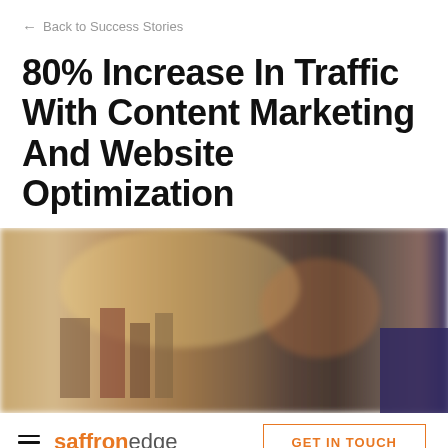← Back to Success Stories
80% Increase In Traffic With Content Marketing And Website Optimization
[Figure (photo): Blurred background photo of a bookshelf or store interior with warm amber/brown tones and a dark element in the bottom right corner]
saffron edge   GET IN TOUCH